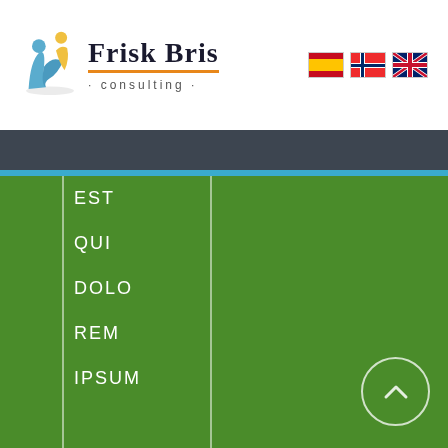[Figure (logo): Frisk Bris Consulting logo with two figures and orange underline, plus three flag icons (Spanish, Norwegian, UK)]
EST
QUI
DOLO
REM
IPSUM